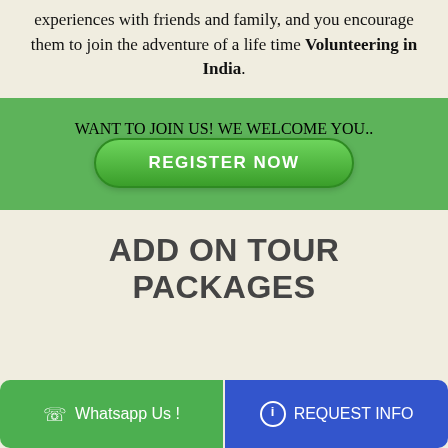experiences with friends and family, and you encourage them to join the adventure of a life time Volunteering in India.
WANT TO JOIN US! WE WELCOME YOU..
REGISTER NOW
ADD ON TOUR PACKAGES
Whatsapp Us !
REQUEST INFO